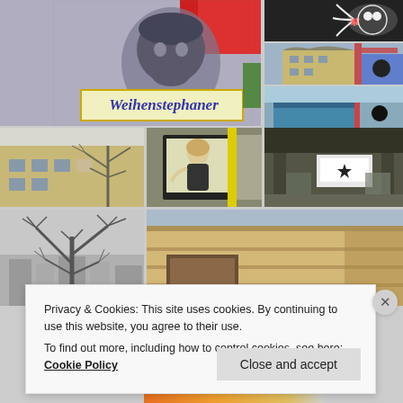[Figure (photo): Photo collage of urban street scenes: large top-left image showing a wall mural/stencil of a face with a Weihenstephaner beer sign below it; top-right column with three smaller photos showing graffiti/street art, a demolition building, and a street scene; middle row with three photos of a building, an advertising billboard with a woman, and a covered passage/store; bottom row with a black-and-white tree photo and a tan/beige building exterior.]
Privacy & Cookies: This site uses cookies. By continuing to use this website, you agree to their use.
To find out more, including how to control cookies, see here: Cookie Policy
Close and accept